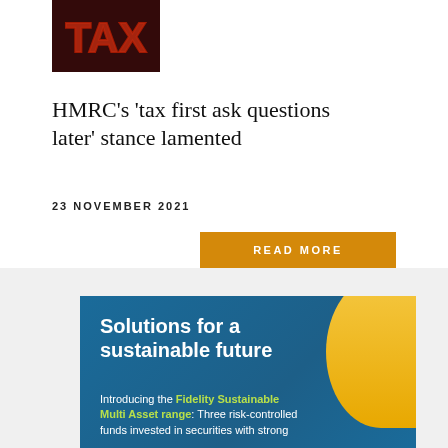[Figure (photo): Photo of a neon red TAX sign against a dark background]
HMRC's 'tax first ask questions later' stance lamented
23 NOVEMBER 2021
READ MORE
[Figure (infographic): Fidelity advertisement banner with blue background and gold accent shape. Text reads: Solutions for a sustainable future. Introducing the Fidelity Sustainable Multi Asset range: Three risk-controlled funds invested in securities with strong...]